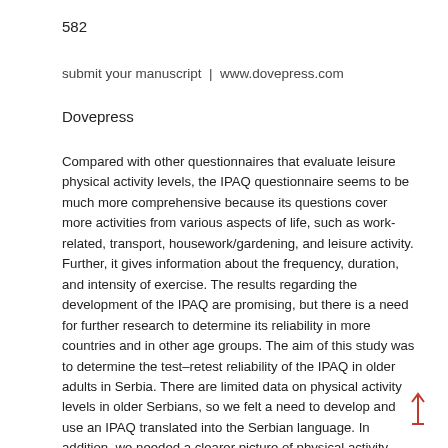582
submit your manuscript  |  www.dovepress.com
Dovepress
Compared with other questionnaires that evaluate leisure physical activity levels, the IPAQ questionnaire seems to be much more comprehensive because its questions cover more activities from various aspects of life, such as work-related, transport, housework/gardening, and leisure activity. Further, it gives information about the frequency, duration, and intensity of exercise. The results regarding the development of the IPAQ are promising, but there is a need for further research to determine its reliability in more countries and in other age groups. The aim of this study was to determine the test–retest reliability of the IPAQ in older adults in Serbia. There are limited data on physical activity levels in older Serbians, so we felt a need to develop and use an IPAQ translated into the Serbian language. In addition, we needed a clearer picture of physical activity levels in older adults that could be